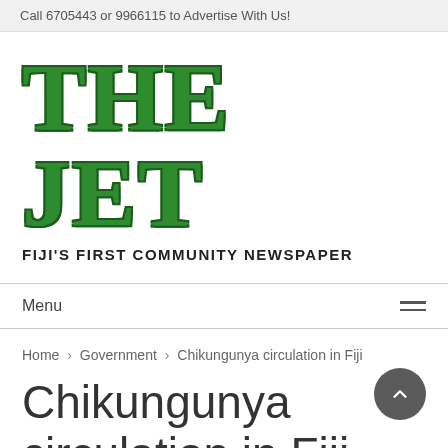Call 6705443 or 9966115 to Advertise With Us!
[Figure (logo): The Jet newspaper logo — large green bold serif text 'THE JET' with dark green outline, subtitle 'FIJI'S FIRST COMMUNITY NEWSPAPER' in bold black sans-serif]
Menu
Home > Government > Chikungunya circulation in Fiji
Chikungunya circulation in Fiji
May 7, 2015 · admin